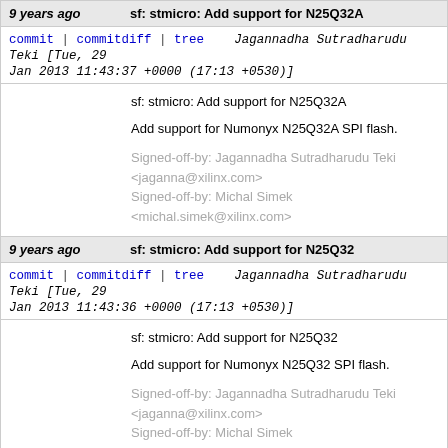9 years ago | sf: stmicro: Add support for N25Q32A
commit | commitdiff | tree Jagannadha Sutradharudu Teki [Tue, 29 Jan 2013 11:43:37 +0000 (17:13 +0530)]
sf: stmicro: Add support for N25Q32A

Add support for Numonyx N25Q32A SPI flash.

Signed-off-by: Jagannadha Sutradharudu Teki <jaganna@xilinx.com>
Signed-off-by: Michal Simek <michal.simek@xilinx.com>
9 years ago | sf: stmicro: Add support for N25Q32
commit | commitdiff | tree Jagannadha Sutradharudu Teki [Tue, 29 Jan 2013 11:43:36 +0000 (17:13 +0530)]
sf: stmicro: Add support for N25Q32

Add support for Numonyx N25Q32 SPI flash.

Signed-off-by: Jagannadha Sutradharudu Teki <jaganna@xilinx.com>
Signed-off-by: Michal Simek <michal.simek@xilinx.com>
9 years ago | sf: stmicro: Add support for N25Q64A
commit | commitdiff | tree Jagannadha Sutradharudu Teki [Wed, 23